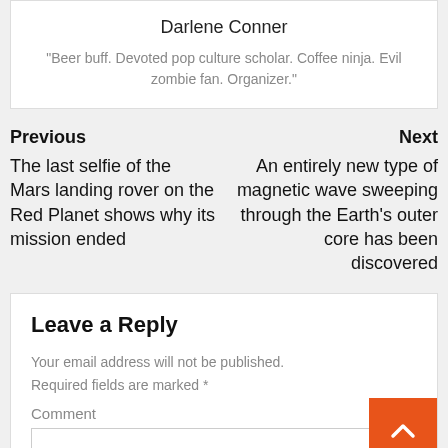Darlene Conner
"Beer buff. Devoted pop culture scholar. Coffee ninja. Evil zombie fan. Organizer."
Previous
The last selfie of the Mars landing rover on the Red Planet shows why its mission ended
Next
An entirely new type of magnetic wave sweeping through the Earth's outer core has been discovered
Leave a Reply
Your email address will not be published.
Required fields are marked *
Comment